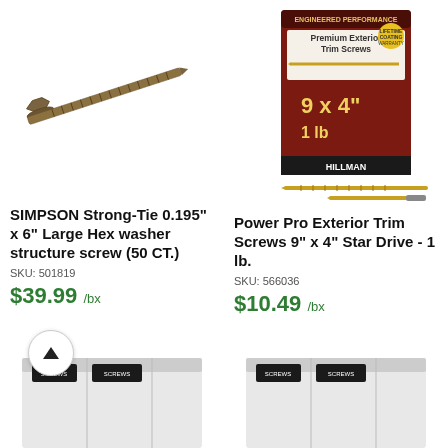[Figure (photo): SIMPSON Strong-Tie large hex washer structure screw, diagonal angle view showing threaded shaft and hex head]
[Figure (photo): Power Pro Exterior Trim Screws 9x4 1lb box (Hillman brand, dark red packaging) with two gold screws and a drive bit shown below]
SIMPSON Strong-Tie 0.195" x 6" Large Hex washer structure screw (50 CT.)
SKU: 501819
$39.99 /bx
Power Pro Exterior Trim Screws 9" x 4" Star Drive - 1 lb.
SKU: 566036
$10.49 /bx
[Figure (photo): Bottom partial view of a white product box with label showing screws]
[Figure (photo): Bottom partial view of another white product box with label showing screws]